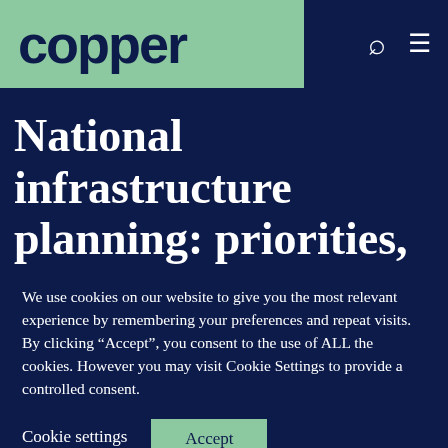copper
National infrastructure planning: priorities, funding and progress of major
We use cookies on our website to give you the most relevant experience by remembering your preferences and repeat visits. By clicking “Accept”, you consent to the use of ALL the cookies. However you may visit Cookie Settings to provide a controlled consent.
Cookie settings  Accept